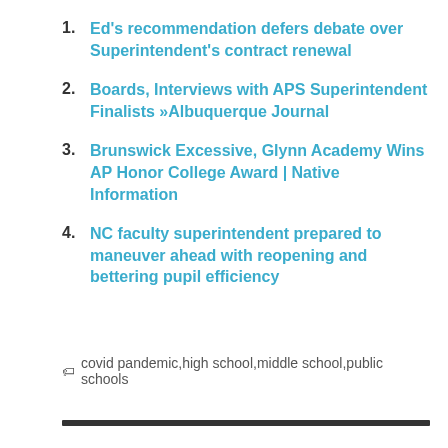1. Ed's recommendation defers debate over Superintendent's contract renewal
2. Boards, Interviews with APS Superintendent Finalists »Albuquerque Journal
3. Brunswick Excessive, Glynn Academy Wins AP Honor College Award | Native Information
4. NC faculty superintendent prepared to maneuver ahead with reopening and bettering pupil efficiency
🏷 covid pandemic,high school,middle school,public schools